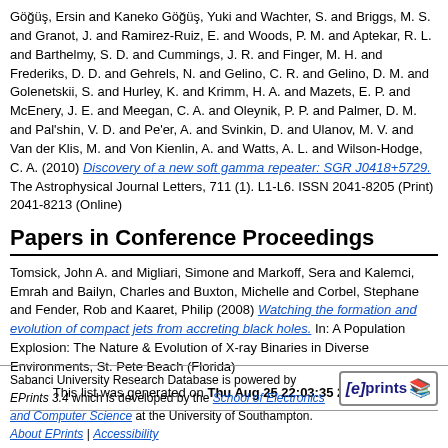Göğüş, Ersin and Kaneko Göğüş, Yuki and Wachter, S. and Briggs, M. S. and Granot, J. and Ramirez-Ruiz, E. and Woods, P. M. and Aptekar, R. L. and Barthelmy, S. D. and Cummings, J. R. and Finger, M. H. and Frederiks, D. D. and Gehrels, N. and Gelino, C. R. and Gelino, D. M. and Golenetskii, S. and Hurley, K. and Krimm, H. A. and Mazets, E. P. and McEnery, J. E. and Meegan, C. A. and Oleynik, P. P. and Palmer, D. M. and Pal'shin, V. D. and Pe'er, A. and Svinkin, D. and Ulanov, M. V. and Van der Klis, M. and Von Kienlin, A. and Watts, A. L. and Wilson-Hodge, C. A. (2010) Discovery of a new soft gamma repeater: SGR J0418+5729. The Astrophysical Journal Letters, 711 (1). L1-L6. ISSN 2041-8205 (Print) 2041-8213 (Online)
Papers in Conference Proceedings
Tomsick, John A. and Migliari, Simone and Markoff, Sera and Kalemci, Emrah and Bailyn, Charles and Buxton, Michelle and Corbel, Stephane and Fender, Rob and Kaaret, Philip (2008) Watching the formation and evolution of compact jets from accreting black holes. In: A Population Explosion: The Nature & Evolution of X-ray Binaries in Diverse Environments, St. Pete Beach (Florida)
This list was generated on Thu Aug 25 22:03:35 2022 +03.
Sabanci University Research Database is powered by EPrints 3.4 which is developed by the School of Electronics and Computer Science at the University of Southampton. About EPrints | Accessibility